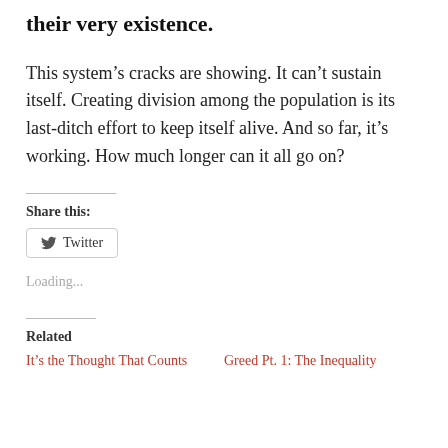their very existence.
This system's cracks are showing. It can't sustain itself. Creating division among the population is its last-ditch effort to keep itself alive. And so far, it's working. How much longer can it all go on?
Share this:
[Figure (other): Twitter share button]
Loading...
Related
It's the Thought That Counts
Greed Pt. 1: The Inequality